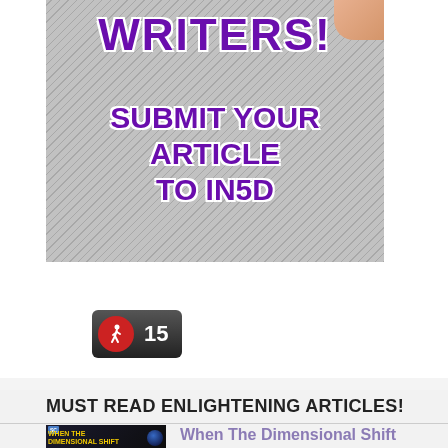[Figure (illustration): Banner image with typewriter background and purple bold text reading 'WRITERS! SUBMIT YOUR ARTICLE TO IN5D']
[Figure (infographic): Dark pill-shaped widget with red circle walker icon and number 15]
Awakening & Ascension
MUST READ ENLIGHTENING ARTICLES!
[Figure (screenshot): Thumbnail image with dark background, yellow text 'WHEN THE DIMENSIONAL SHIFT HAPPENS' and a blue cosmic circle graphic, with 'SC' badge]
When The Dimensional Shift Happens